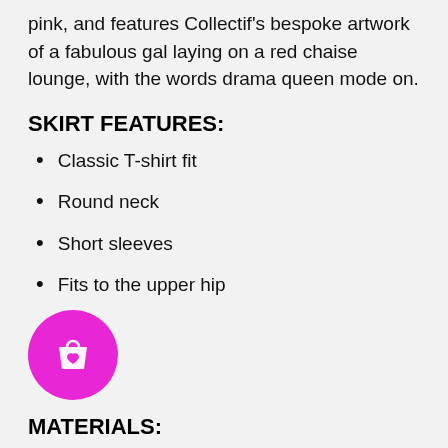pink, and features Collectif's bespoke artwork of a fabulous gal laying on a red chaise lounge, with the words drama queen mode on.
SKIRT FEATURES:
Classic T-shirt fit
Round neck
Short sleeves
Fits to the upper hip
[Figure (illustration): Magenta/pink circular shopping bag button with a heart icon]
MATERIALS: